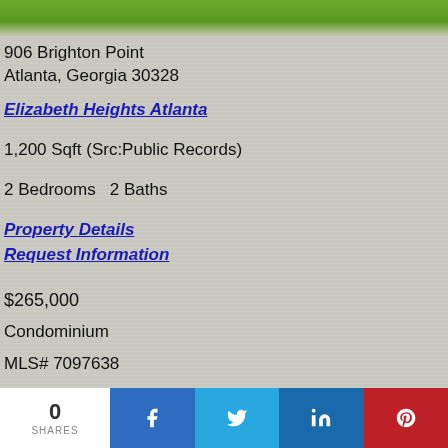[Figure (photo): Top strip showing grass/lawn exterior photo of property]
906 Brighton Point
Atlanta, Georgia 30328
Elizabeth Heights Atlanta
1,200 Sqft (Src:Public Records)
2 Bedrooms   2 Baths
Property Details
Request Information
$265,000
Condominium
MLS# 7097638
[Figure (logo): FMLS IDX logo in green]
0 SHARES | Facebook | Twitter | LinkedIn | Pinterest